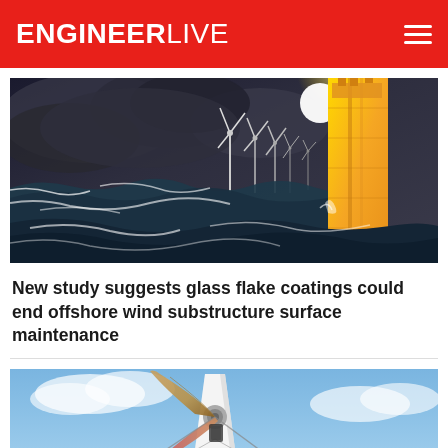ENGINEERLIVE
[Figure (photo): Offshore wind turbines in stormy seas with large yellow cylindrical substructure on the right side]
New study suggests glass flake coatings could end offshore wind substructure surface maintenance
[Figure (photo): Close-up of wind turbine blade and tower against blue sky]